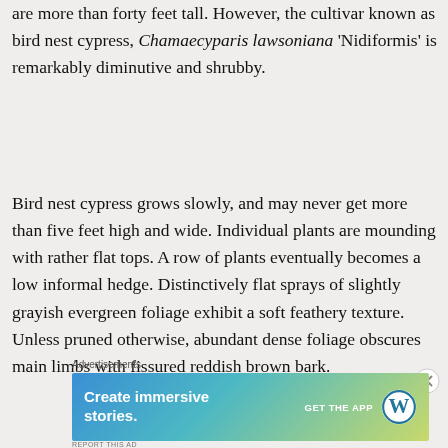are more than forty feet tall. However, the cultivar known as bird nest cypress, Chamaecyparis lawsoniana 'Nidiformis' is remarkably diminutive and shrubby.
Bird nest cypress grows slowly, and may never get more than five feet high and wide. Individual plants are mounding with rather flat tops. A row of plants eventually becomes a low informal hedge. Distinctively flat sprays of slightly grayish evergreen foliage exhibit a soft feathery texture. Unless pruned otherwise, abundant dense foliage obscures main limbs with fissured reddish brown bark.
Advertisements
[Figure (other): WordPress advertisement banner: 'Create immersive stories. GET THE APP' with WordPress logo on a blue-green-yellow gradient background.]